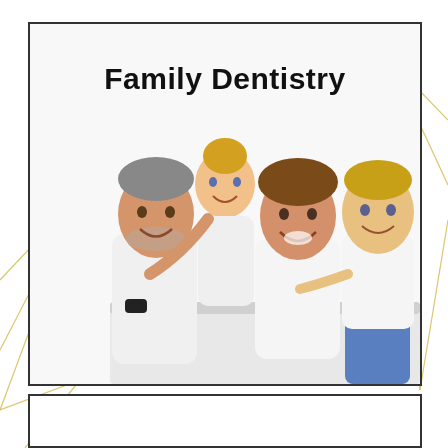[Figure (illustration): Decorative gold geometric line pattern in the background corners]
[Figure (photo): A smiling family of four (father, mother, daughter, son) all wearing white shirts, posing together happily at a white table. Bold text 'Family Dentistry' appears at the top of the image.]
Family Dentistry